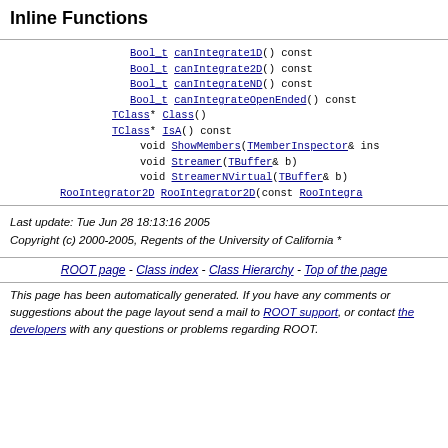Inline Functions
Bool_t canIntegrate1D() const
Bool_t canIntegrate2D() const
Bool_t canIntegrateND() const
Bool_t canIntegrateOpenEnded() const
TClass* Class()
TClass* IsA() const
void ShowMembers(TMemberInspector& ins
void Streamer(TBuffer& b)
void StreamerNVirtual(TBuffer& b)
RooIntegrator2D RooIntegrator2D(const RooIntegra
Last update: Tue Jun 28 18:13:16 2005
Copyright (c) 2000-2005, Regents of the University of California *
ROOT page - Class index - Class Hierarchy - Top of the page
This page has been automatically generated. If you have any comments or suggestions about the page layout send a mail to ROOT support, or contact the developers with any questions or problems regarding ROOT.